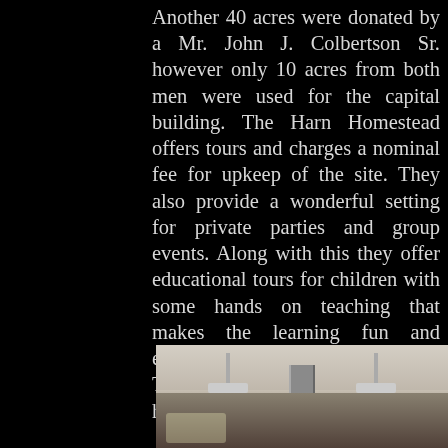Another 40 acres were donated by a Mr. John J. Colbertson Sr. however only 10 acres from both men were used for the capital building. The Harn Homestead offers tours and charges a nominal fee for upkeep of the site. They also provide a wonderful setting for private parties and group events. Along with this they offer educational tours for children with some hands on teaching that makes the learning fun and enjoyable for children of all ages. The Harn home is on the national historical buildings registry.
[Figure (photo): Interior photo showing a ceiling with hanging light fixtures and a central pipe or column element, appearing to be taken inside the Harn Homestead building.]